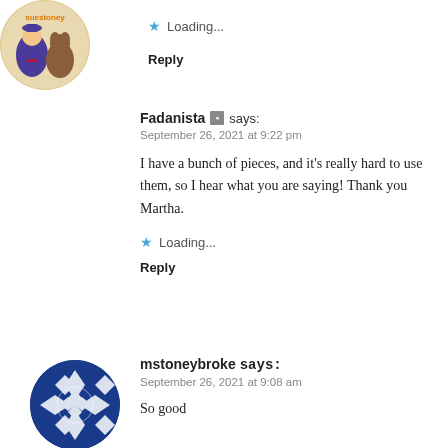★ Loading...
Reply
[Figure (illustration): Circular avatar showing animated characters with text 'suestoney' for user Fadanista]
Fadanista says: September 26, 2021 at 9:22 pm
I have a bunch of pieces, and it's really hard to use them, so I hear what you are saying! Thank you Martha.
★ Loading...
Reply
[Figure (illustration): Circular avatar with blue and white geometric quilt pattern for user mstoneybroke]
mstoneybroke says: September 26, 2021 at 9:08 am
So good